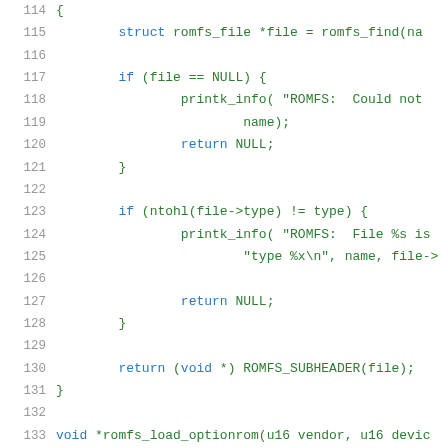[Figure (screenshot): Source code listing in C, lines 114-133, showing a romfs file lookup function with type checking and return statements, displayed with syntax highlighting (blue keywords, green strings/identifiers, gray line numbers) on white background.]